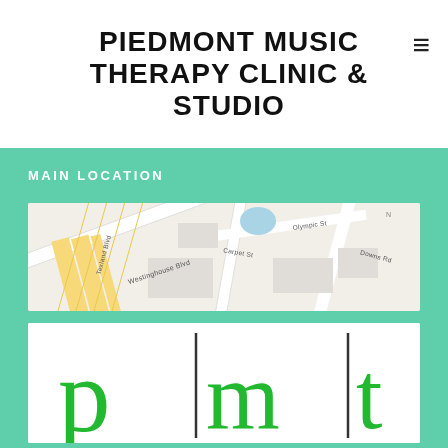PIEDMONT MUSIC THERAPY CLINIC & STUDIO
MAIN LOCATION
[Figure (map): Street map showing Westinghouse Blvd, Texland Blvd, Carpet St, Olympic St, Downs Rd area]
[Figure (logo): PMT logo with large green letters p, m, t separated by vertical bars]